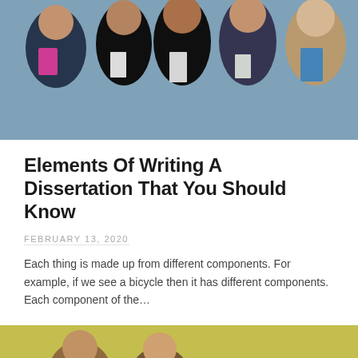[Figure (photo): Group of smiling students holding notebooks and folders, standing together outdoors]
Elements Of Writing A Dissertation That You Should Know
FEBRUARY 13, 2020
Each thing is made up from different components. For example, if we see a bicycle then it has different components. Each component of the…
[Figure (photo): Students outdoors in a green/yellow background setting]